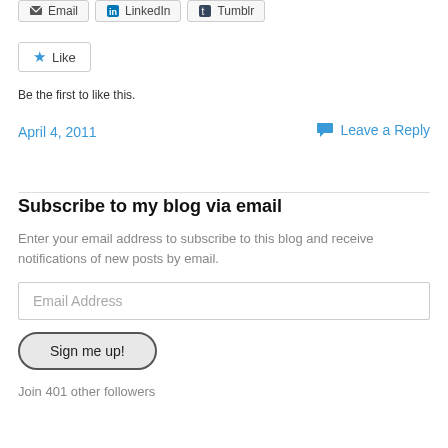[Figure (screenshot): Social sharing buttons: Email, LinkedIn, Tumblr]
[Figure (screenshot): Like button with star icon]
Be the first to like this.
April 4, 2011
Leave a Reply
Subscribe to my blog via email
Enter your email address to subscribe to this blog and receive notifications of new posts by email.
Email Address
Sign me up!
Join 401 other followers